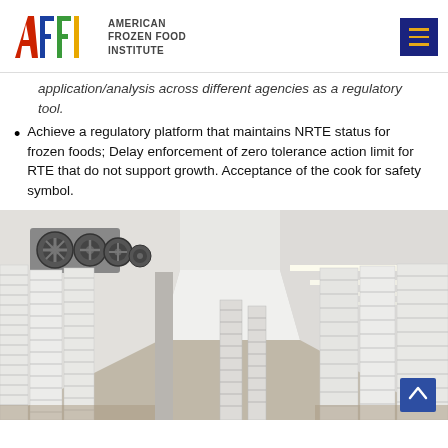AMERICAN FROZEN FOOD INSTITUTE
application/analysis across different agencies as a regulatory tool.
Achieve a regulatory platform that maintains NRTE status for frozen foods; Delay enforcement of zero tolerance action limit for RTE that do not support growth. Acceptance of the cook for safety symbol.
[Figure (photo): Interior of a large refrigerated cold storage facility showing industrial ceiling-mounted cooling fans/evaporator units, bright fluorescent lighting along the ceiling, and rows of stacked white plastic trays/racks on pallets extending down a long corridor.]